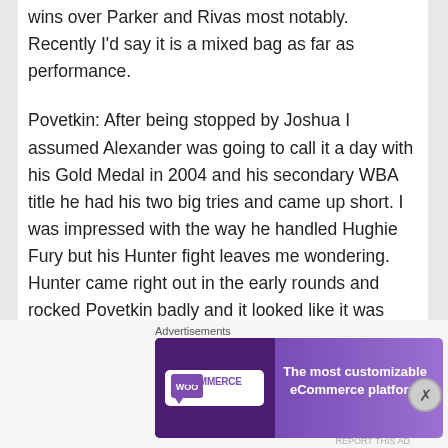wins over Parker and Rivas most notably. Recently I'd say it is a mixed bag as far as performance.
Povetkin: After being stopped by Joshua I assumed Alexander was going to call it a day with his Gold Medal in 2004 and his secondary WBA title he had his two big tries and came up short. I was impressed with the way he handled Hughie Fury but his Hunter fight leaves me wondering. Hunter came right out in the early rounds and rocked Povetkin badly and it looked like it was going to be a short night. However, Povetkin
Advertisements
[Figure (other): WooCommerce advertisement banner: purple gradient background with WooCommerce logo on the left and text 'The most customizable eCommerce platform' on the right.]